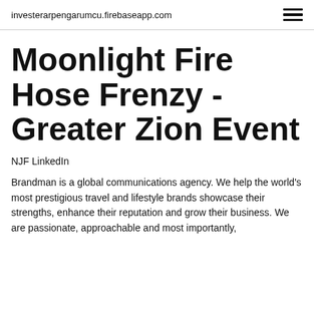investerarpengarumcu.firebaseapp.com
Moonlight Fire Hose Frenzy - Greater Zion Event
NJF LinkedIn
Brandman is a global communications agency. We help the world's most prestigious travel and lifestyle brands showcase their strengths, enhance their reputation and grow their business. We are passionate, approachable and most importantly,